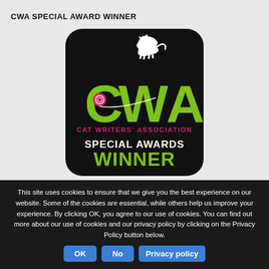CWA SPECIAL AWARD WINNER
[Figure (logo): Cat Writers' Association Special Awards Winner logo — black rounded-rectangle badge with green CWA letters, a white cat silhouette walking on top, a pink yarn ball in the C, white text 'CAT WRITERS' ASSOCIATION' and 'SPECIAL AWARDS' with green 'WINNER' below.]
This site uses cookies to ensure that we give you the best experience on our website. Some of the cookies are essential, while others help us improve your experience. By clicking OK, you agree to our use of cookies. You can find out more about our use of cookies and our privacy policy by clicking on the Privacy Policy button below.
OK
No
Privacy policy